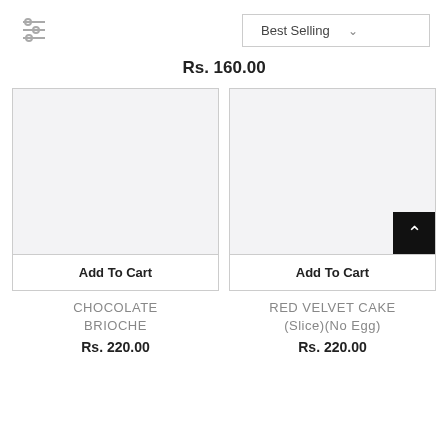[Figure (other): Filter/sliders icon with three horizontal lines and circles]
[Figure (other): Best Selling dropdown selector with chevron]
Rs. 160.00
[Figure (other): Chocolate Brioche product image placeholder (light grey rectangle)]
Add To Cart
CHOCOLATE BRIOCHE
Rs. 220.00
[Figure (other): Red Velvet Cake (Slice)(No Egg) product image placeholder (light grey rectangle) with back-to-top button]
Add To Cart
RED VELVET CAKE (Slice)(No Egg)
Rs. 220.00